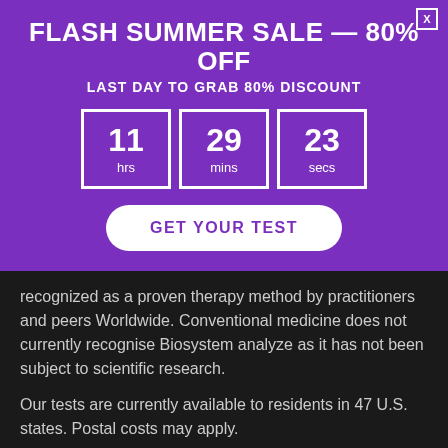FLASH SUMMER SALE — 80% OFF
LAST DAY TO GRAB 80% DISCOUNT
[Figure (infographic): Countdown timer showing 11 hrs, 29 mins, 23 secs in white-bordered boxes on purple background]
GET YOUR TEST
recognized as a proven therapy method by practitioners and peers Worldwide. Conventional medicine does not currently recognise Biosystem analyze as it has not been subject to scientific research.
Our tests are currently available to residents in 47 U.S. states. Postal costs may apply.
Someone recently purchased:
Complete Hair & Saliva Samples — ...
About 7 hours ago